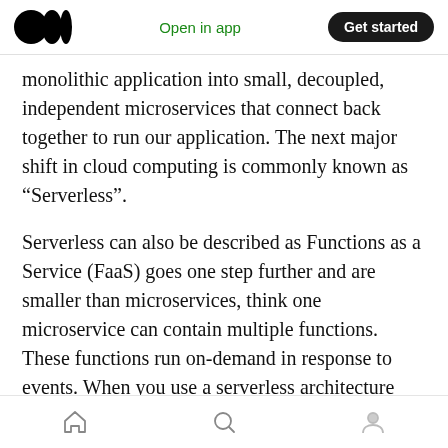Open in app | Get started
monolithic application into small, decoupled, independent microservices that connect back together to run our application. The next major shift in cloud computing is commonly known as “Serverless”.
Serverless can also be described as Functions as a Service (FaaS) goes one step further and are smaller than microservices, think one microservice can contain multiple functions. These functions run on-demand in response to events. When you use a serverless architecture you only pay for the resources your application
Home | Search | Profile